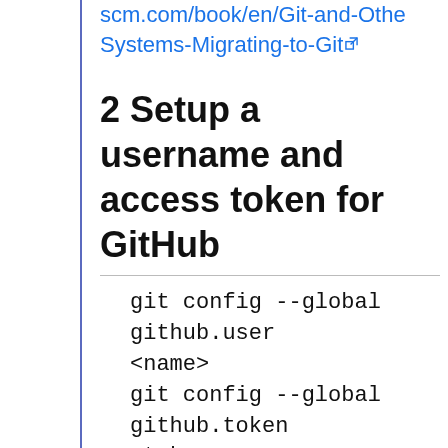scm.com/book/en/Git-and-Other-Systems-Migrating-to-Git
2 Setup a username and access token for GitHub
git config --global github.user <name>
git config --global github.token <token>
where the token is made using the instructions at https://help.github.com/articles/reating-an-access-token-for-command-line-use